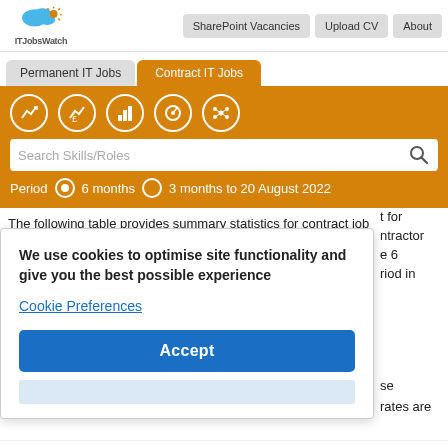ITJobsWatch | SharePoint Vacancies | Upload CV | About
Permanent IT Jobs | Contract IT Jobs
[Figure (screenshot): Orange navigation bar with icons for charts/skills, search bar with 'Search Skills/Roles', and period selector showing '6 months' selected and '3 months to 20 August 2022']
The following table provides summary statistics for contract job
We use cookies to optimise site functionality and give you the best possible experience
Cookie Preferences
Accept
Central London > City of London